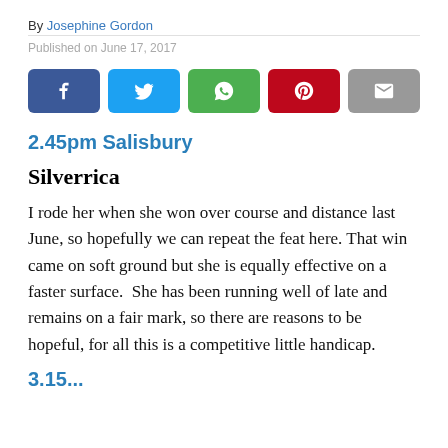By Josephine Gordon
Published on June 17, 2017
[Figure (infographic): Social sharing buttons: Facebook, Twitter, WhatsApp, Pinterest, Email]
2.45pm Salisbury
Silverrica
I rode her when she won over course and distance last June, so hopefully we can repeat the feat here. That win came on soft ground but she is equally effective on a faster surface.  She has been running well of late and remains on a fair mark, so there are reasons to be hopeful, for all this is a competitive little handicap.
3.15...